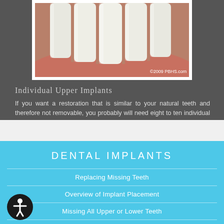[Figure (illustration): Dental illustration showing upper tooth implants from a side view, with white teeth and gum tissue. Watermark: ©2009 PBHS.com]
Individual Upper Implants
If you want a restoration that is similar to your natural teeth and therefore not removable, you probably will need eight to ten individual implants placed. This is followed after healing by the placement of the abutments and new replacement crowns.
DENTAL IMPLANTS
Replacing Missing Teeth
Overview of Implant Placement
Missing All Upper or Lower Teeth